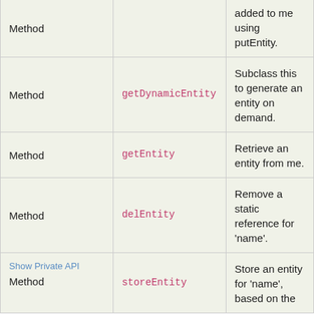| Type | Name | Description |
| --- | --- | --- |
| Method | getDynamicEntity | Subclass this to generate an entity on demand. |
| Method | getEntity | Retrieve an entity from me. |
| Method | delEntity | Remove a static reference for 'name'. |
| Method (Show Private API) | storeEntity | Store an entity for 'name', based on the... |